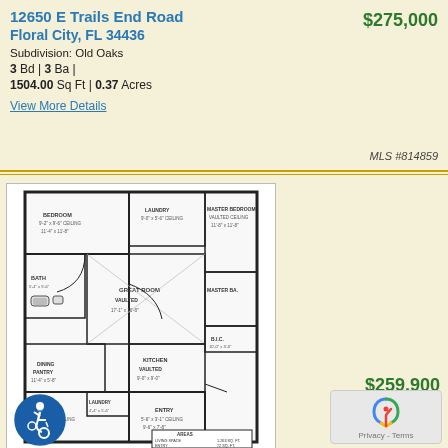12650 E Trails End Road Floral City, FL 34436
$275,000
Subdivision: Old Oaks
3 Bd | 3 Ba |
1504.00 Sq Ft | 0.37 Acres
View More Details
MLS #814859
[Figure (other): Floor plan blueprint showing layout of home with rooms labeled: Bedroom, Master Bedroom, Bath, Great Room, Master Ba, B.I.C., Kitchen, Dining, Laundry, Garage, Entry, and areas table showing living space 1,263 sq ft, entry 72 sq ft, lanai 122 sq ft]
43 Photos
$259,900